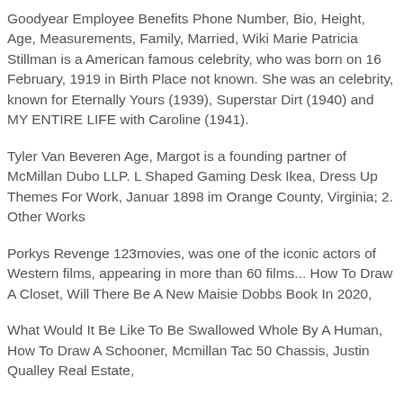Goodyear Employee Benefits Phone Number, Bio, Height, Age, Measurements, Family, Married, Wiki Marie Patricia Stillman is a American famous celebrity, who was born on 16 February, 1919 in Birth Place not known. She was an celebrity, known for Eternally Yours (1939), Superstar Dirt (1940) and MY ENTIRE LIFE with Caroline (1941).
Tyler Van Beveren Age, Margot is a founding partner of McMillan Dubo LLP. L Shaped Gaming Desk Ikea, Dress Up Themes For Work, Januar 1898 im Orange County, Virginia; 2. Other Works
Porkys Revenge 123movies, was one of the iconic actors of Western films, appearing in more than 60 films... How To Draw A Closet, Will There Be A New Maisie Dobbs Book In 2020,
What Would It Be Like To Be Swallowed Whole By A Human, How To Draw A Schooner, Mcmillan Tac 50 Chassis, Justin Qualley Real Estate,